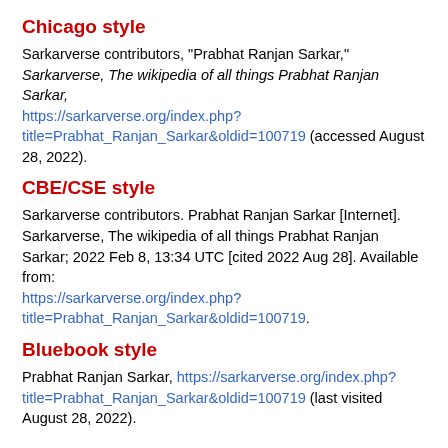Chicago style
Sarkarverse contributors, "Prabhat Ranjan Sarkar," Sarkarverse, The wikipedia of all things Prabhat Ranjan Sarkar, https://sarkarverse.org/index.php?title=Prabhat_Ranjan_Sarkar&oldid=100719 (accessed August 28, 2022).
CBE/CSE style
Sarkarverse contributors. Prabhat Ranjan Sarkar [Internet]. Sarkarverse, The wikipedia of all things Prabhat Ranjan Sarkar; 2022 Feb 8, 13:34 UTC [cited 2022 Aug 28]. Available from: https://sarkarverse.org/index.php?title=Prabhat_Ranjan_Sarkar&oldid=100719.
Bluebook style
Prabhat Ranjan Sarkar, https://sarkarverse.org/index.php?title=Prabhat_Ranjan_Sarkar&oldid=100719 (last visited August 28, 2022).